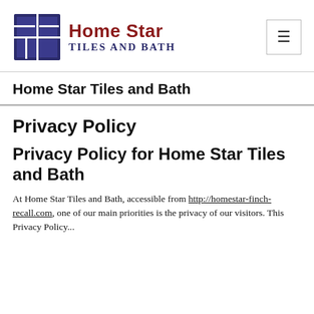[Figure (logo): Home Star Tiles and Bath logo with a dark blue tile grid icon and text 'Home Star' in bold dark red and 'Tiles and Bath' in dark blue serif capitals]
Home Star Tiles and Bath
Privacy Policy
Privacy Policy for Home Star Tiles and Bath
At Home Star Tiles and Bath, accessible from http://homestar-finch-recall.com, one of our main priorities is the privacy of our visitors. This Privacy Policy...